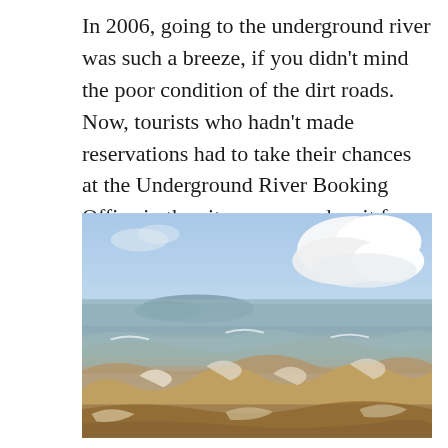In 2006, going to the underground river was such a breeze, if you didn't mind the poor condition of the dirt roads. Now, tourists who hadn't made reservations had to take their chances at the Underground River Booking Office in the city proper and wait for hours.
[Figure (photo): A beach scene photographed from low angle at water level, showing turbulent brown-tinted waves with whitecaps crashing in the foreground. The middle ground shows calmer water and a distant low hill or island. The background has a blue sky with large white cumulus clouds on the right side.]